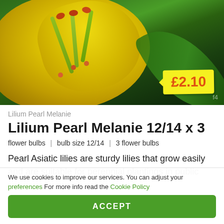[Figure (photo): Close-up photograph of a yellow lily flower (Lilium Pearl Melanie) with orange-red anthers/stamens against a green background, with a yellow price tag showing £2.10 in orange text]
Lilium Pearl Melanie
Lilium Pearl Melanie 12/14 x 3
flower bulbs | bulb size 12/14 | 3 flower bulbs
Pearl Asiatic lilies are sturdy lilies that grow easily and are suitable for perennial plantings in public
We use cookies to improve our services. You can adjust your preferences For more info read the Cookie Policy
ACCEPT